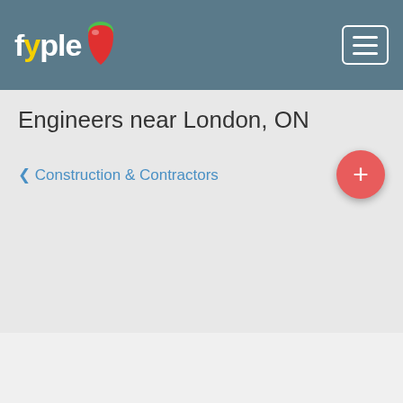fyple [logo] [hamburger menu]
Engineers near London, ON
< Construction & Contractors